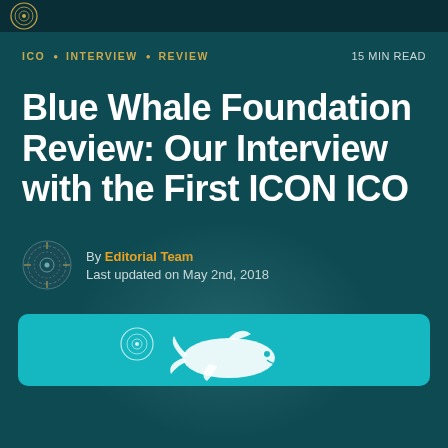ICO • INTERVIEW • REVIEW   15 MIN READ
Blue Whale Foundation Review: Our Interview with the First ICON ICO
By Editorial Team
Last updated on May 2nd, 2018
[Figure (illustration): Teal rounded rectangle card with a white whale/dolphin silhouette illustration at the bottom]